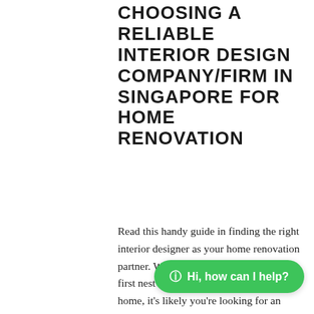CHOOSING A RELIABLE INTERIOR DESIGN COMPANY/FIRM IN SINGAPORE FOR HOME RENOVATION
Read this handy guide in finding the right interior designer as your home renovation partner. Whether you're building your first nest or moving into your second home, it's likely you're looking for an interior design company in Singapore. While many may claim to be award winning interior designers, having a guide makes it easier for you to identify the most essential qualities. Consider the following tips, before starting on your search for a reliable interior designer in Singapore.
INTERIOR DESIGN IS A TWO WAY STREET